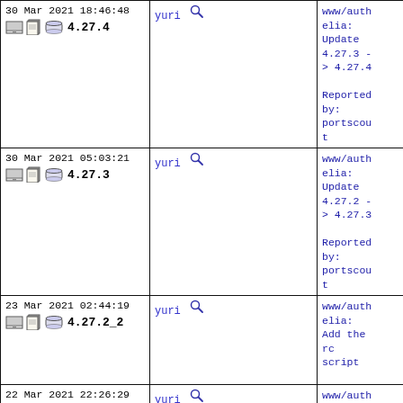| Date/Icons/Version | User | Message |
| --- | --- | --- |
| 30 Mar 2021 18:46:48
[icons] 4.27.4 | yuri [search] | www/authelia: Update 4.27.3 -> 4.27.4

Reported by: portscout |
| 30 Mar 2021 05:03:21
[icons] 4.27.3 | yuri [search] | www/authelia: Update 4.27.2 -> 4.27.3

Reported by: portscout |
| 23 Mar 2021 02:44:19
[icons] 4.27.2_2 | yuri [search] | www/authelia: Add the rc script |
| 22 Mar 2021 22:26:29
[icons] 4.27.2_1 | yuri [search] | www/authelia: |